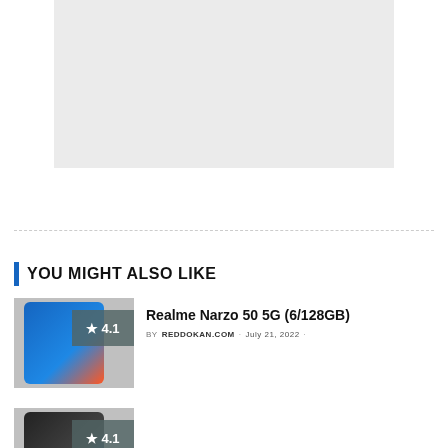[Figure (other): Gray advertisement placeholder box]
YOU MIGHT ALSO LIKE
[Figure (photo): Realme Narzo 50 5G phone thumbnail with 4.1 star rating badge]
Realme Narzo 50 5G (6/128GB)
BY REDDOKAN.COM · July 21, 2022 ·
[Figure (photo): Second phone thumbnail with 4.1 star rating badge (partially visible)]